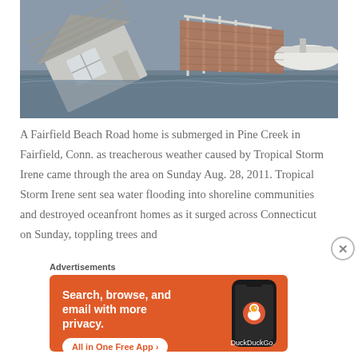[Figure (photo): Aerial view of a Fairfield Beach Road home submerged and tilted into Pine Creek floodwaters during Tropical Storm Irene, with a white boat visible on the right and a deck railing visible.]
A Fairfield Beach Road home is submerged in Pine Creek in Fairfield, Conn. as treacherous weather caused by Tropical Storm Irene came through the area on Sunday Aug. 28, 2011. Tropical Storm Irene sent sea water flooding into shoreline communities and destroyed oceanfront homes as it surged across Connecticut on Sunday, toppling trees and
Advertisements
[Figure (infographic): DuckDuckGo advertisement banner with orange background. Text: Search, browse, and email with more privacy. All in One Free App. Shows a smartphone with the DuckDuckGo logo and the text DuckDuckGo.]